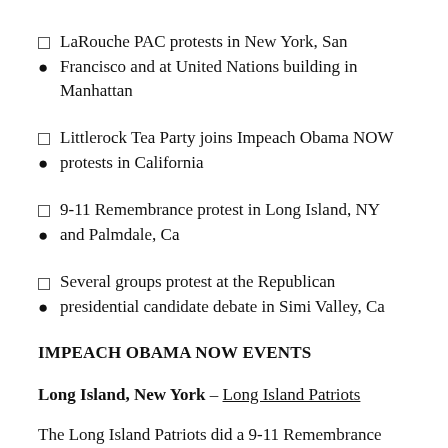● LaRouche PAC protests in New York, San Francisco and at United Nations building in Manhattan
● Littlerock Tea Party joins Impeach Obama NOW protests in California
● 9-11 Remembrance protest in Long Island, NY and Palmdale, Ca
● Several groups protest at the Republican presidential candidate debate in Simi Valley, Ca
IMPEACH OBAMA NOW EVENTS
Long Island, New York – Long Island Patriots
The Long Island Patriots did a 9-11 Remembrance